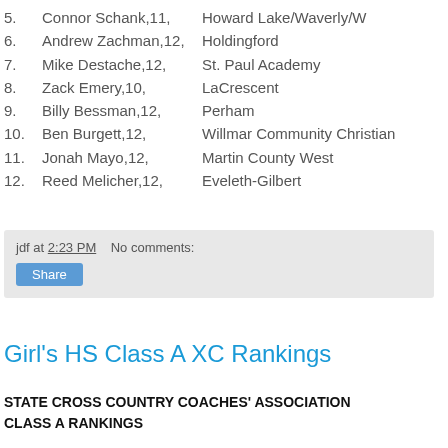5.  Connor Schank,11,   Howard Lake/Waverly/W
6.  Andrew Zachman,12,  Holdingford
7.  Mike Destache,12,   St. Paul Academy
8.  Zack Emery,10,      LaCrescent
9.  Billy Bessman,12,   Perham
10. Ben Burgett,12,     Willmar Community Christian
11. Jonah Mayo,12,      Martin County West
12. Reed Melicher,12,   Eveleth-Gilbert
jdf at 2:23 PM   No comments:   Share
Girl's HS Class A XC Rankings
STATE CROSS COUNTRY COACHES' ASSOCIATION CLASS A RANKINGS